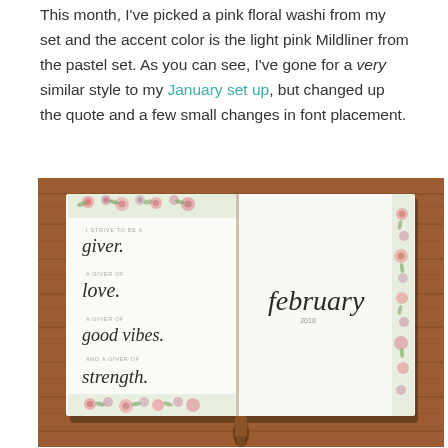This month, I've picked a pink floral washi from my set and the accent color is the light pink Mildliner from the pastel set. As you can see, I've gone for a very similar style to my January set up, but changed up the quote and a few small changes in font placement.
[Figure (photo): Open bullet journal on a wooden table. The left page shows calligraphic text reading 'I strive to be a giver. A giver of love. A giver of good vibes. And a giver of strength.' with floral washi tape borders. The right page shows 'february 2018' in italic calligraphy script, with floral borders on top and right side. The journal sits on a dark wooden table surface.]